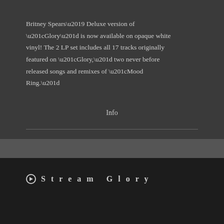Britney Spears' Deluxe version of “Glory” is now available on opaque white vinyl! The 2 LP set includes all 17 tracks originally featured on “Glory,” two never before released songs and remixes of “Mood Ring.”
Info
Stream Glory